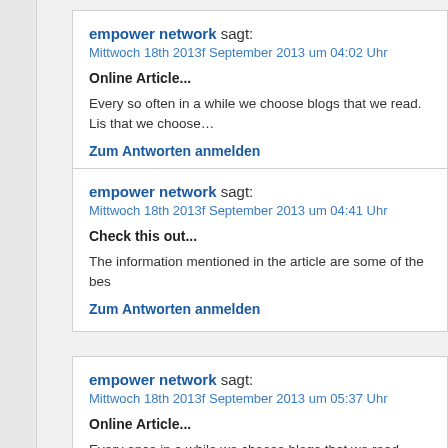empower network sagt:
Mittwoch 18th 2013f September 2013 um 04:02 Uhr

Online Article...

Every so often in a while we choose blogs that we read. Lis that we choose…

Zum Antworten anmelden
empower network sagt:
Mittwoch 18th 2013f September 2013 um 04:41 Uhr

Check this out...

The information mentioned in the article are some of the bes

Zum Antworten anmelden
empower network sagt:
Mittwoch 18th 2013f September 2013 um 05:37 Uhr

Online Article...

Every once in a while we choose blogs that we read. Listed we choose…

Zum Antworten anmelden